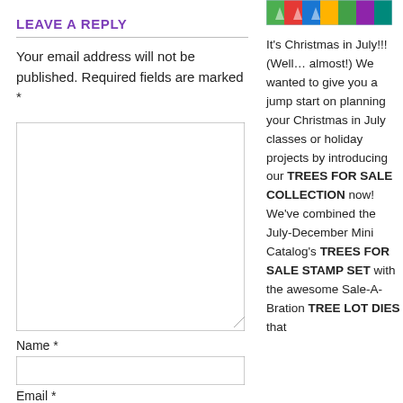[Figure (photo): Thumbnail image of Christmas-themed stamps or cards at top right]
LEAVE A REPLY
Your email address will not be published. Required fields are marked *
[Figure (screenshot): Comment text area input box]
Name *
[Figure (screenshot): Name text input field]
Email *
[Figure (screenshot): Email text input field]
It’s Christmas in July!!!  (Well… almost!)  We wanted to give you a jump start on planning your Christmas in July classes or holiday projects by introducing our TREES FOR SALE COLLECTION now!  We’ve combined the July-December Mini Catalog’s TREES FOR SALE STAMP SET with the awesome Sale-A-Bration TREE LOT DIES that